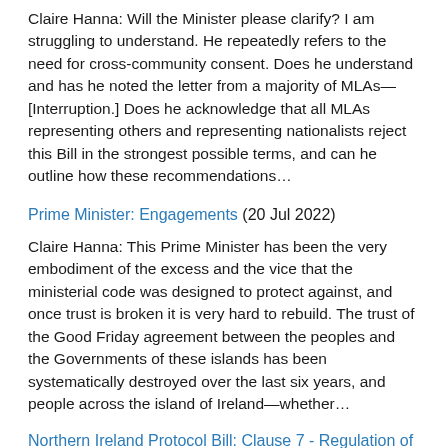Claire Hanna: Will the Minister please clarify? I am struggling to understand. He repeatedly refers to the need for cross-community consent. Does he understand and has he noted the letter from a majority of MLAs—[Interruption.] Does he acknowledge that all MLAs representing others and representing nationalists reject this Bill in the strongest possible terms, and can he outline how these recommendations...
Prime Minister: Engagements (20 Jul 2022)
Claire Hanna: This Prime Minister has been the very embodiment of the excess and the vice that the ministerial code was designed to protect against, and once trust is broken it is very hard to rebuild. The trust of the Good Friday agreement between the peoples and the Governments of these islands has been systematically destroyed over the last six years, and people across the island of Ireland—whether...
Northern Ireland Protocol Bill: Clause 7 - Regulation of